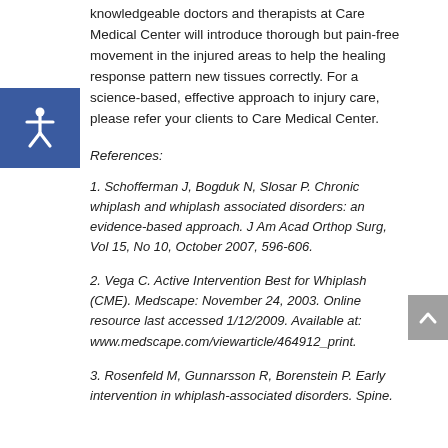knowledgeable doctors and therapists at Care Medical Center will introduce thorough but pain-free movement in the injured areas to help the healing response pattern new tissues correctly. For a science-based, effective approach to injury care, please refer your clients to Care Medical Center.
References:
1. Schofferman J, Bogduk N, Slosar P. Chronic whiplash and whiplash associated disorders: an evidence-based approach. J Am Acad Orthop Surg, Vol 15, No 10, October 2007, 596-606.
2. Vega C. Active Intervention Best for Whiplash (CME). Medscape: November 24, 2003. Online resource last accessed 1/12/2009. Available at: www.medscape.com/viewarticle/464912_print.
3. Rosenfeld M, Gunnarsson R, Borenstein P. Early intervention in whiplash-associated disorders. Spine.